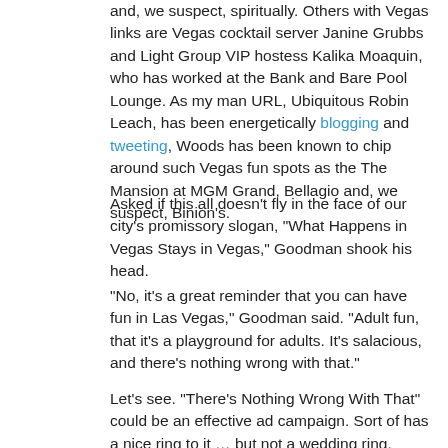and, we suspect, spiritually. Others with Vegas links are Vegas cocktail server Janine Grubbs and Light Group VIP hostess Kalika Moaquin, who has worked at the Bank and Bare Pool Lounge. As my man URL, Ubiquitous Robin Leach, has been energetically blogging and tweeting, Woods has been known to chip around such Vegas fun spots as the The Mansion at MGM Grand, Bellagio and, we suspect, Binion's.
Asked if this all doesn't fly in the face of our city's promissory slogan, "What Happens in Vegas Stays in Vegas," Goodman shook his head.
"No, it's a great reminder that you can have fun in Las Vegas," Goodman said. "Adult fun, that it's a playground for adults. It's salacious, and there's nothing wrong with that."
Let's see. "There's Nothing Wrong With That" could be an effective ad campaign. Sort of has a nice ring to it … but not a wedding ring.